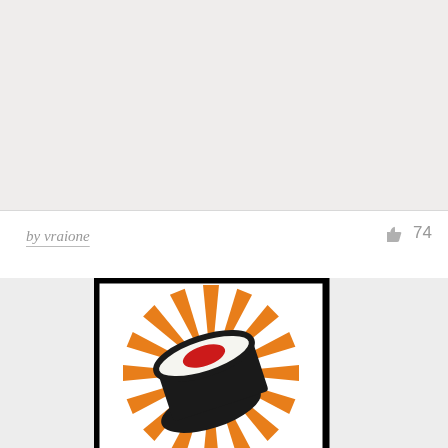[Figure (illustration): Light gray textured background area at top of page, appears to be a cropped/partial view of a design portfolio screenshot]
by vraione
[Figure (logo): Sushi restaurant logo featuring a sushi roll (maki) with red filling, black seaweed exterior, white rice visible, set against orange sunburst rays on white background within a black rectangular border. Below the image partial text 'SUSHI' in bold black letters is visible.]